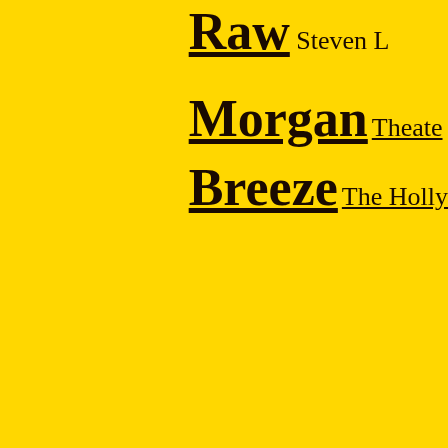Raw Steven L
Morgan Theater
Breeze The Holly